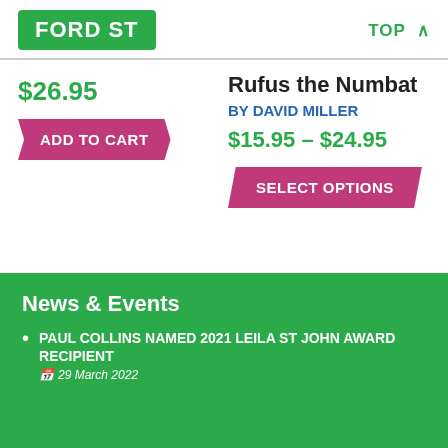FORD ST | TOP
$26.95
ADD TO CART
Rufus the Numbat
BY DAVID MILLER
$15.95 – $24.95
SELECT OPTIONS
News & Events
PAUL COLLINS NAMED 2021 LEILA ST JOHN AWARD RECIPIENT
29 March 2022